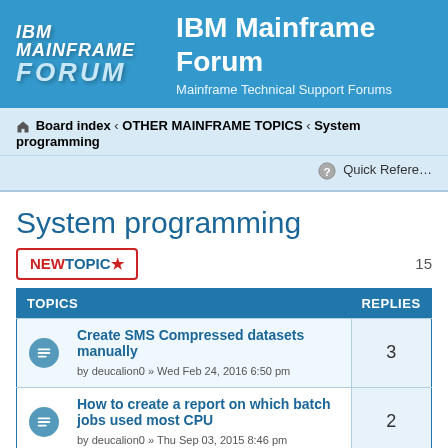[Figure (logo): IBM Mainframe Forum logo with blue background, showing IBM MAINFRAME FORUM in styled text]
IBM Mainframe Forum
Mainframe Technical Support Forums
Board index · OTHER MAINFRAME TOPICS · System programming
Quick Reference
System programming
NEWTOPIC
| TOPICS | REPLIES |
| --- | --- |
| Create SMS Compressed datasets manually
by deucalion0 » Wed Feb 24, 2016 6:50 pm | 3 |
| How to create a report on which batch jobs used most CPU
by deucalion0 » Thu Sep 03, 2015 8:46 pm | 2 |
| PROC COPY OR IBM Utilities
by nkulkarni » Wed Nov 18, 2015 6:34 pm | 2 |
| REXX or JCL for find FMID and Product version
by dharmenibm1 » Mon Nov 02, 2015 9:24 pm | 3 |
| systems programmer role and jobs |  |